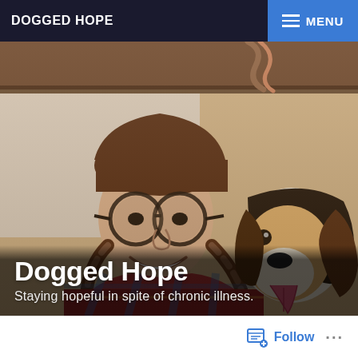DOGGED HOPE | MENU
[Figure (photo): A woman with braided hair and round glasses smiling, posing with a brown and white dog (appears to be a beagle mix). The woman is wearing a plaid flannel shirt. The background shows wooden beams/structure. Text overlay reads 'Dogged Hope' and 'Staying hopeful in spite of chronic illness.']
Dogged Hope
Staying hopeful in spite of chronic illness.
Follow ...